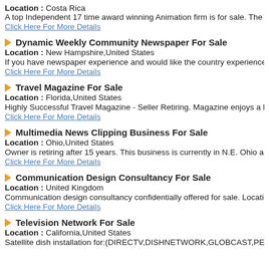Location : Costa Rica
A top Independent 17 time award winning Animation firm is for sale. The as...
Click Here For More Details
Dynamic Weekly Community Newspaper For Sale
Location : New Hampshire,United States
If you have newspaper experience and would like the country experience, th...
Click Here For More Details
Travel Magazine For Sale
Location : Florida,United States
Highly Successful Travel Magazine - Seller Retiring. Magazine enjoys a lon...
Click Here For More Details
Multimedia News Clipping Business For Sale
Location : Ohio,United States
Owner is retiring after 15 years. This business is currently in N.E. Ohio and...
Click Here For More Details
Communication Design Consultancy For Sale
Location : United Kingdom
Communication design consultancy confidentially offered for sale. Location:...
Click Here For More Details
Television Network For Sale
Location : California,United States
Satellite dish installation for:(DIRECTV,DISHNETWORK,GLOBCAST,PE...